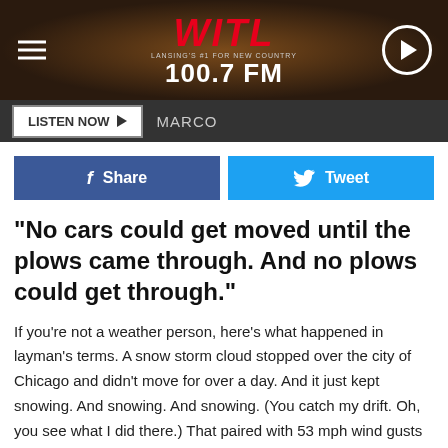WITL 100.7 FM - Lansing's #1 For New Country
LISTEN NOW ▶  MARCO
[Figure (screenshot): Facebook Share button and Twitter Tweet button]
"No cars could get moved until the plows came through. And no plows could get through."
If you're not a weather person, here's what happened in layman's terms. A snow storm cloud stopped over the city of Chicago and didn't move for over a day. And it just kept snowing. And snowing. And snowing. (You catch my drift. Oh, you see what I did there.) That paired with 53 mph wind gusts and 6 foot drifts. The city was paralyzed.